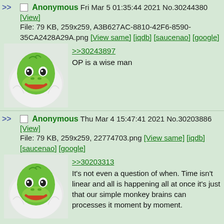>> Anonymous Fri Mar 5 01:35:44 2021 No.30244380 [View]
File: 79 KB, 259x259, A3B627AC-8810-42F6-8590-35CA2428A29A.png [View same] [iqdb] [saucenao] [google]
[Figure (photo): Pepe the Frog meme image wrapped in a towel/blanket]
>>30243897
OP is a wise man
>> Anonymous Thu Mar 4 15:47:41 2021 No.30203886 [View]
File: 79 KB, 259x259, 22774703.png [View same] [iqdb] [saucenao] [google]
[Figure (photo): Pepe the Frog meme image wrapped in a towel/blanket]
>>30203313
It's not even a question of when. Time isn't linear and all is happening all at once it's just that our simple monkey brains can processes it moment by moment.
We are going to make it and We have already